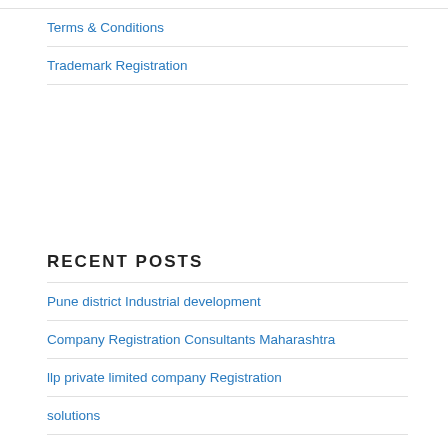Terms & Conditions
Trademark Registration
RECENT POSTS
Pune district Industrial development
Company Registration Consultants Maharashtra
llp private limited company Registration
solutions
MSME website designing marketing for businesses